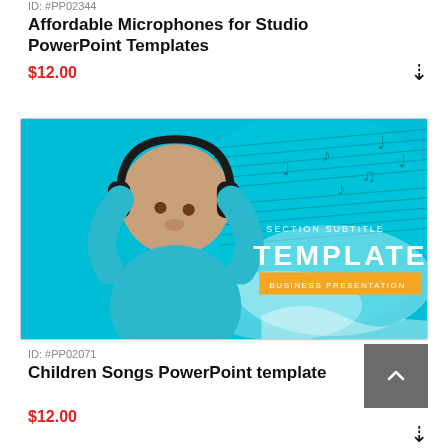ID: #PP02344
Affordable Microphones for Studio PowerPoint Templates
$12.00
[Figure (screenshot): Preview image of a PowerPoint template showing a baby/toddler wearing large black headphones against a teal/cyan background with musical notes. Text on image reads 'SECTION SUBTITLE', 'TEMPLATE', and 'BUSINESS PRESENTATION'.]
ID: #PP02071
Children Songs PowerPoint template
$12.00